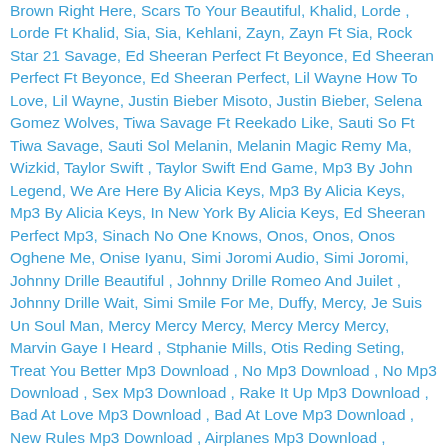Brown Right Here, Scars To Your Beautiful, Khalid, Lorde , Lorde Ft Khalid, Sia, Sia, Kehlani, Zayn, Zayn Ft Sia, Rock Star 21 Savage, Ed Sheeran Perfect Ft Beyonce, Ed Sheeran Perfect Ft Beyonce, Ed Sheeran Perfect, Lil Wayne How To Love, Lil Wayne, Justin Bieber Misoto, Justin Bieber, Selena Gomez Wolves, Tiwa Savage Ft Reekado Like, Sauti So Ft Tiwa Savage, Sauti Sol Melanin, Melanin Magic Remy Ma, Wizkid, Taylor Swift , Taylor Swift End Game, Mp3 By John Legend, We Are Here By Alicia Keys, Mp3 By Alicia Keys, Mp3 By Alicia Keys, In New York By Alicia Keys, Ed Sheeran Perfect Mp3, Sinach No One Knows, Onos, Onos, Onos Oghene Me, Onise Iyanu, Simi Joromi Audio, Simi Joromi, Johnny Drille Beautiful , Johnny Drille Romeo And Juilet , Johnny Drille Wait, Simi Smile For Me, Duffy, Mercy, Je Suis Un Soul Man, Mercy Mercy Mercy, Mercy Mercy Mercy, Marvin Gaye I Heard , Stphanie Mills, Otis Reding Seting, Treat You Better Mp3 Download , No Mp3 Download , No Mp3 Download , Sex Mp3 Download , Rake It Up Mp3 Download , Bad At Love Mp3 Download , Bad At Love Mp3 Download , New Rules Mp3 Download , Airplanes Mp3 Download , Airplanes Mp3 Download , Flo Rida My House, Kevin Lyttle , Stick To The Status Quo, Stick To The Status Quo, Disco Polo 2010, Alaine Hello Reggae Cover, Jaden Smith Icon, Future Ft Nicki Minaj Baddest, Lil Pump Gucci Manne, Awaken Kalamik Tsirintala Mp3 Awaken Kalamik Tsirintala Mp3